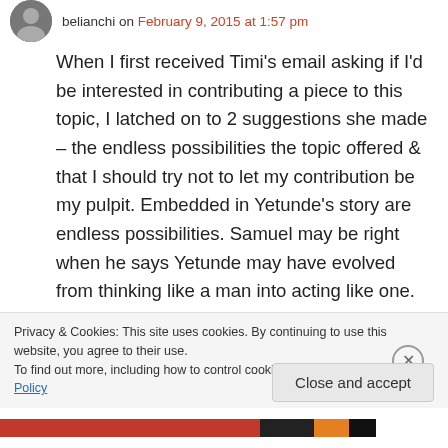belianchi on February 9, 2015 at 1:57 pm
When I first received Timi's email asking if I'd be interested in contributing a piece to this topic, I latched on to 2 suggestions she made – the endless possibilities the topic offered & that I should try not to let my contribution be my pulpit. Embedded in Yetunde's story are endless possibilities. Samuel may be right when he says Yetunde may have evolved from thinking like a man into acting like one. But then, isn't behaviour the end result of how we think? As
Privacy & Cookies: This site uses cookies. By continuing to use this website, you agree to their use.
To find out more, including how to control cookies, see here: Cookie Policy
Close and accept